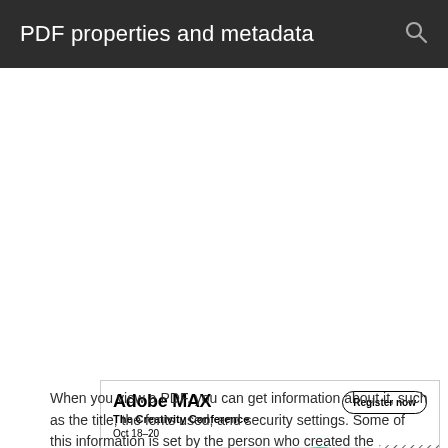PDF properties and metadata
[Figure (illustration): Adobe MAX - The Creativity Conference advertisement banner. Shows 'Adobe MAX' in bold, 'The Creativity Conference', 'Oct 18–20', a 'Register now' button, colorful graphic elements with rainbow bar at the bottom, abstract shapes and diagonal pattern.]
View document properties
When you view a PDF, you can get information about it, such as the title, the fonts used, and security settings. Some of this information is set by the person who created the document,